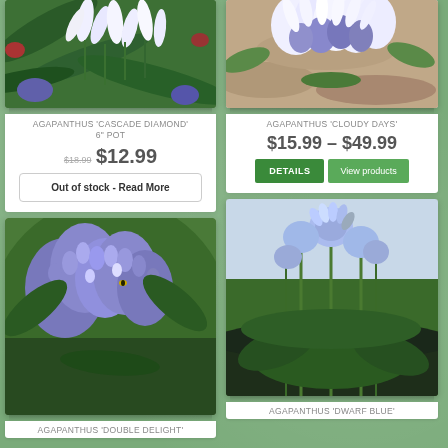[Figure (photo): White Agapanthus 'Cascade Diamond' flowers with drooping white bell-shaped blooms against green foliage]
AGAPANTHUS 'CASCADE DIAMOND' 6" POT
$18.99  $12.99
Out of stock - Read More
[Figure (photo): White and purple Agapanthus 'Cloudy Days' flowers with rounded head of blooms]
AGAPANTHUS 'CLOUDY DAYS'
$15.99 – $49.99
DETAILS  View products
[Figure (photo): Blue-purple Agapanthus 'Double Delight' flowers with dense clustered blue buds and blooms against green foliage]
AGAPANTHUS 'DOUBLE DELIGHT'
[Figure (photo): Blue Agapanthus 'Dwarf Blue' flowers with tall stalks and light blue flower heads in a garden setting]
AGAPANTHUS 'DWARF BLUE'